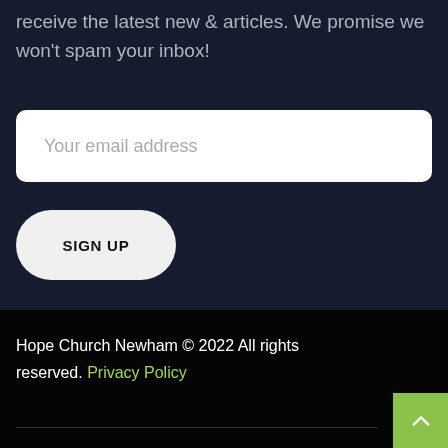receive the latest new & articles. We promise we won't spam your inbox!
Your email address
SIGN UP
Hope Church Newham © 2022 All rights reserved. Privacy Policy